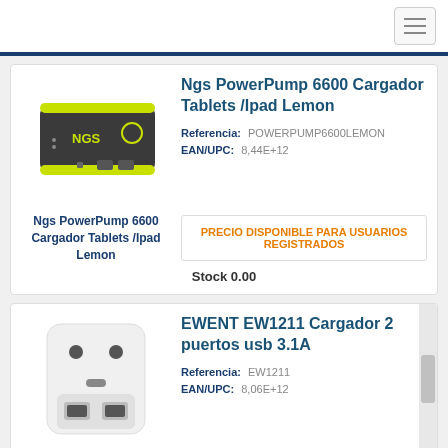[Figure (photo): NGS PowerPump 6600 portable charger - dark gray body with yellow-green trim, two USB ports]
Ngs PowerPump 6600 Cargador Tablets /Ipad Lemon
Referencia: POWERPUMP6600LEMON
EAN/UPC: 8,44E+12
Ngs PowerPump 6600 Cargador Tablets /Ipad Lemon
PRECIO DISPONIBLE PARA USUARIOS REGISTRADOS
Stock 0.00
[Figure (photo): EWENT EW1211 wall charger - white plug adapter with two USB ports on front]
EWENT EW1211 Cargador 2 puertos usb 3.1A
Referencia: EW1211
EAN/UPC: 8,06E+12